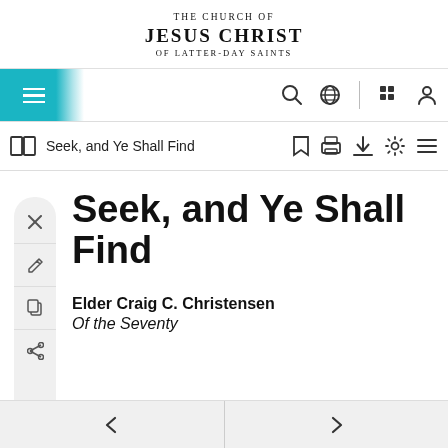THE CHURCH OF JESUS CHRIST OF LATTER-DAY SAINTS
[Figure (screenshot): Website navigation bar with hamburger menu (teal/cyan background), search icon, globe icon, grid icon, and person icon]
[Figure (screenshot): Document toolbar with book icon, title 'Seek, and Ye Shall Find', bookmark icon, print icon, download icon, settings icon, and list icon]
Seek, and Ye Shall Find
Elder Craig C. Christensen
Of the Seventy